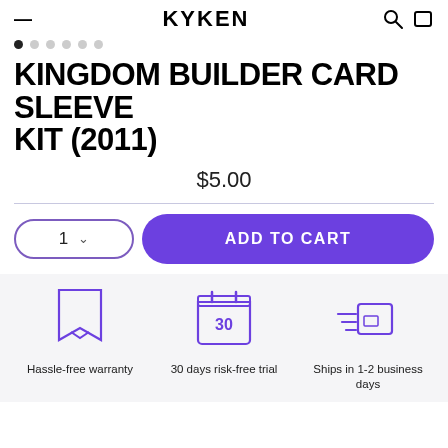KYREN
KINGDOM BUILDER CARD SLEEVE KIT (2011)
$5.00
ADD TO CART
[Figure (illustration): Hassle-free warranty icon (bookmark ribbon)]
Hassle-free warranty
[Figure (illustration): 30 days risk-free trial icon (calendar showing 30)]
30 days risk-free trial
[Figure (illustration): Ships in 1-2 business days icon (delivery box with speed lines)]
Ships in 1-2 business days